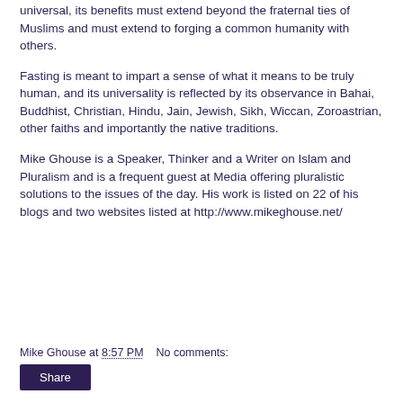universal, its benefits must extend beyond the fraternal ties of Muslims and must extend to forging a common humanity with others.
Fasting is meant to impart a sense of what it means to be truly human, and its universality is reflected by its observance in Bahai, Buddhist, Christian, Hindu, Jain, Jewish, Sikh, Wiccan, Zoroastrian, other faiths and importantly the native traditions.
Mike Ghouse is a Speaker, Thinker and a Writer on Islam and Pluralism and is a frequent guest at Media offering pluralistic solutions to the issues of the day. His work is listed on 22 of his blogs and two websites listed at http://www.mikeghouse.net/
Mike Ghouse at 8:57 PM   No comments:
Share